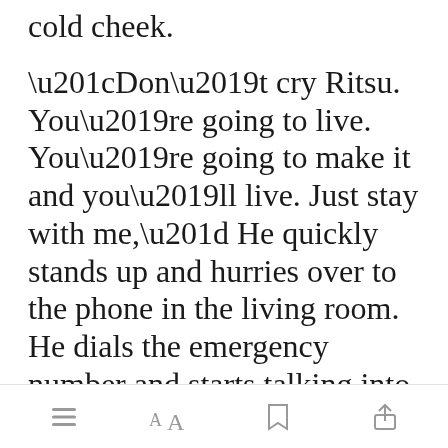cold cheek.
“Don’t cry Ritsu. You’re going to live. You’re going to make it and you’ll live. Just stay with me,” He quickly stands up and hurries over to the phone in the living room. He dials the emergency number and starts talking into the receiver desperately. I can’t comprehend what he’s saying because my br[Open in app]o fogged over.
[menu icon] [font size icon] [bookmark icon] [share icon]